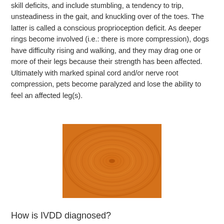skill deficits, and include stumbling, a tendency to trip, unsteadiness in the gait, and knuckling over of the toes. The latter is called a conscious proprioception deficit. As deeper rings become involved (i.e.: there is more compression), dogs have difficulty rising and walking, and they may drag one or more of their legs because their strength has been affected. Ultimately with marked spinal cord and/or nerve root compression, pets become paralyzed and lose the ability to feel an affected leg(s).
[Figure (photo): Cross-section of a tree trunk showing concentric growth rings in orange/amber tones, representing the annular rings (disc structure concept for IVDD illustration).]
How is IVDD diagnosed?